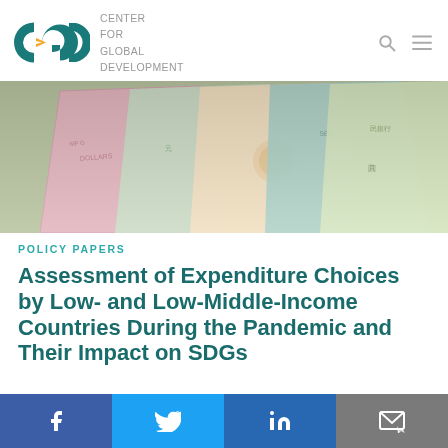CENTER FOR GLOBAL DEVELOPMENT
[Figure (photo): Fan of colorful international currency banknotes from various countries]
POLICY PAPERS
Assessment of Expenditure Choices by Low- and Low-Middle-Income Countries During the Pandemic and Their Impact on SDGs
Share buttons: Facebook, Twitter, LinkedIn, Email